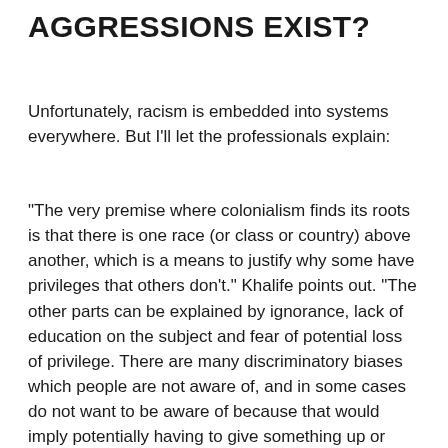AGGRESSIONS EXIST?
Unfortunately, racism is embedded into systems everywhere. But I'll let the professionals explain:
“The very premise where colonialism finds its roots is that there is one race (or class or country) above another, which is a means to justify why some have privileges that others don’t.” Khalife points out. “The other parts can be explained by ignorance, lack of education on the subject and fear of potential loss of privilege. There are many discriminatory biases which people are not aware of, and in some cases do not want to be aware of because that would imply potentially having to give something up or having discomfort.”